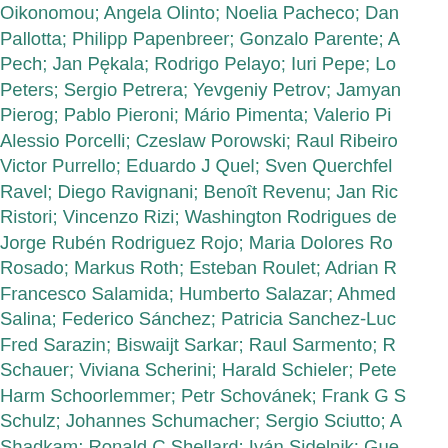Oikonomou; Angela Olinto; Noelia Pacheco; Dan Pallotta; Philipp Papenbreer; Gonzalo Parente; A Pech; Jan Pękala; Rodrigo Pelayo; Iuri Pepe; Lo Peters; Sergio Petrera; Yevgeniy Petrov; Jamyan Pierog; Pablo Pieroni; Mário Pimenta; Valerio Pi Alessio Porcelli; Czeslaw Porowski; Raul Ribeiro Victor Purrello; Eduardo J Quel; Sven Querchfel Ravel; Diego Ravignani; Benoît Revenu; Jan Ric Ristori; Vincenzo Rizi; Washington Rodrigues de Jorge Rubén Rodriguez Rojo; Maria Dolores Ro Rosado; Markus Roth; Esteban Roulet; Adrian R Francesco Salamida; Humberto Salazar; Ahmed Salina; Federico Sánchez; Patricia Sanchez-Luc Fred Sarazin; Biswaijt Sarkar; Raul Sarmento; R Schauer; Viviana Scherini; Harald Schieler; Pete Harm Schoorlemmer; Petr Schovánek; Frank G Schulz; Johannes Schumacher; Sergio Sciutto; A Shadkam; Ronald C Shellard; Iván Sidelnik; Gue Śmiałkowski; Radomir Šmída; Gregory Snow; Pa Yogendra N Srivastava; Denis Stanca; Samo Sta Maurice Stephan; Anne Stutz; Federico Suarez; Michael Sutherland; John Swain; Zbigniew Szad Andreas Tepe; Vanessa Menezes Theodoro; Jav J Todero Peixoto; Gabriel Toma; Lenka Tomanko Guillermo Torralba Elipe; Diego Torres Machado; Martin Urban; Jose F Valdés Galicia; Ines Valiño Bodegom; Ad M van den Berg; Sjoert van Velzer Vargas Cárdenas; Gary Varner; Rafael Vasquez